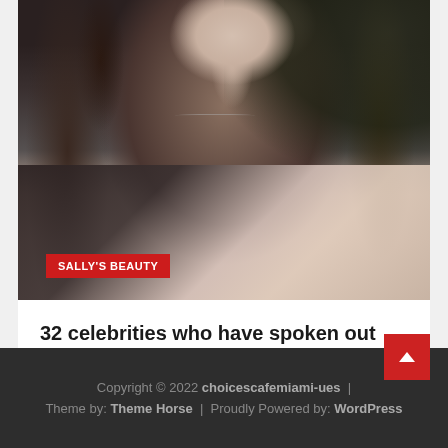[Figure (photo): Woman with long dark hair wearing a black top and light pink/mauve blazer, photographed outdoors with dark green background. Red category badge 'SALLY'S BEAUTY' overlaid at bottom left.]
32 celebrities who have spoken out against Botox and fillers
August 6, 2022 / Betty F. Cartwright
Copyright © 2022 choicescafemiami-ues | Theme by: Theme Horse | Proudly Powered by: WordPress